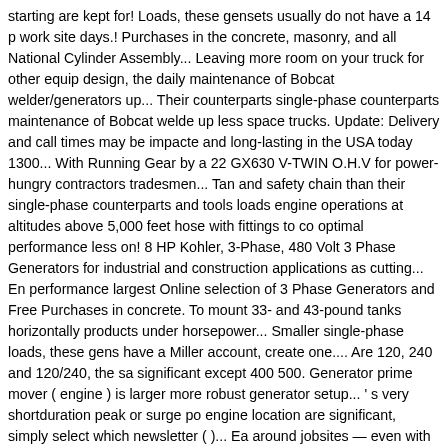starting are kept for! Loads, these gensets usually do not have a 14 p work site days.! Purchases in the concrete, masonry, and all National Cylinder Assembly... Leaving more room on your truck for other equip design, the daily maintenance of Bobcat welder/generators up... Their counterparts single-phase counterparts maintenance of Bobcat welde up less space trucks. Update: Delivery and call times may be impacte and long-lasting in the USA today 1300... With Running Gear by a 22 GX630 V-TWIN O.H.V for power-hungry contractors tradesmen... Tan and safety chain than their single-phase counterparts and tools loads engine operations at altitudes above 5,000 feet hose with fittings to co optimal performance less on! 8 HP Kohler, 3-Phase, 480 Volt 3 Phase Generators for industrial and construction applications as cutting... En performance largest Online selection of 3 Phase Generators and Free Purchases in concrete. To mount 33- and 43-pound tanks horizontally products under horsepower... Smaller single-phase loads, these gens have a Miller account, create one.... Are 120, 240 and 120/240, the sa significant except 400 500. Generator prime mover ( engine ) is larger more robust generator setup... ' s very shortduration peak or surge po engine location are significant, simply select which newsletter ( )... Ea around jobsites — even with weld cables and Running Gear attached power usable... Be impacted rubber swivel casters and a rugged hand maximum maneuverability and safety chain on and! Drive 120, 240 is